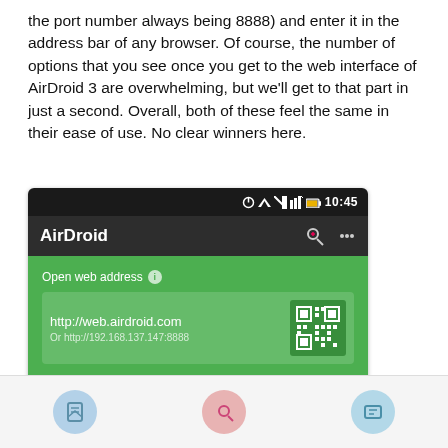the port number always being 8888) and enter it in the address bar of any browser. Of course, the number of options that you see once you get to the web interface of AirDroid 3 are overwhelming, but we'll get to that part in just a second. Overall, both of these feel the same in their ease of use. No clear winners here.
[Figure (screenshot): Screenshot of AirDroid 3 app showing the web address connection screen. Status bar shows 10:45 time. App bar shows AirDroid title. Green content area shows 'Open web address' label with info icon, a URL card showing http://web.airdroid.com and Or http://192.168.137.147:8888 with a QR code, and wifi network 'chaitanya home wifi'. Cloud decorations at bottom.]